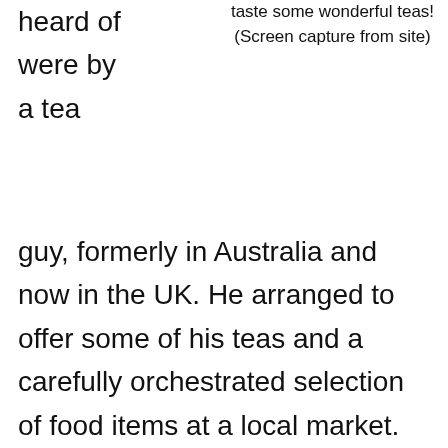heard of were by a tea
taste some wonderful teas! (Screen capture from site)
guy, formerly in Australia and now in the UK. He arranged to offer some of his teas and a carefully orchestrated selection of food items at a local market. Since then, I have seen other events popping up here and there, the latest being one in Miami, Florida, conducted by a local tea vendor there (so well-attended that they scheduled more). They helped introduce attendees not only to their fine tea products but also to a world of tea that goes totally beyond the stuff on your grocer's shelves.